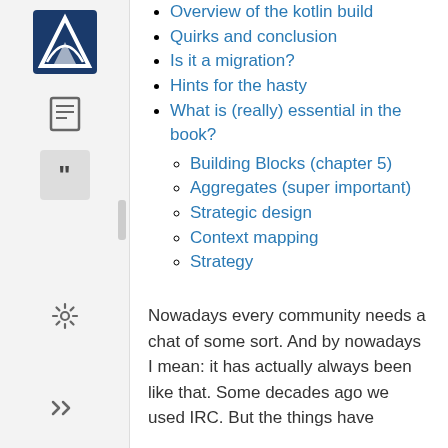Overview of the kotlin build
Quirks and conclusion
Is it a migration?
Hints for the hasty
What is (really) essential in the book?
Building Blocks (chapter 5)
Aggregates (super important)
Strategic design
Context mapping
Strategy
Nowadays every community needs a chat of some sort. And by nowadays I mean: it has actually always been like that. Some decades ago we used IRC. But the things have